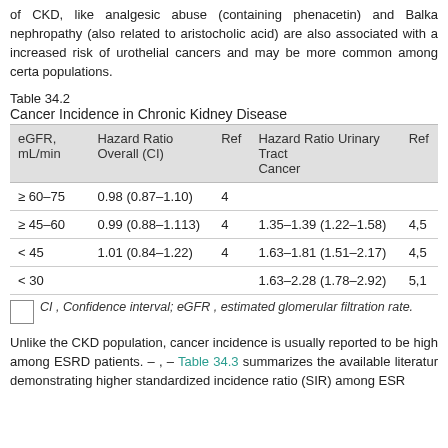of CKD, like analgesic abuse (containing phenacetin) and Balkan nephropathy (also related to aristocholic acid) are also associated with an increased risk of urothelial cancers and may be more common among certain populations.
Table 34.2
Cancer Incidence in Chronic Kidney Disease
| eGFR, mL/min | Hazard Ratio Overall (CI) | Ref | Hazard Ratio Urinary Tract Cancer | Ref |
| --- | --- | --- | --- | --- |
| ≥ 60–75 | 0.98 (0.87–1.10) | 4 |  |  |
| ≥ 45–60 | 0.99 (0.88–1.113) | 4 | 1.35–1.39 (1.22–1.58) | 4,5 |
| < 45 | 1.01 (0.84–1.22) | 4 | 1.63–1.81 (1.51–2.17) | 4,5 |
| < 30 |  |  | 1.63–2.28 (1.78–2.92) | 5,1 |
CI , Confidence interval; eGFR , estimated glomerular filtration rate.
Unlike the CKD population, cancer incidence is usually reported to be higher among ESRD patients. – , – Table 34.3 summarizes the available literature demonstrating higher standardized incidence ratio (SIR) among ESRD